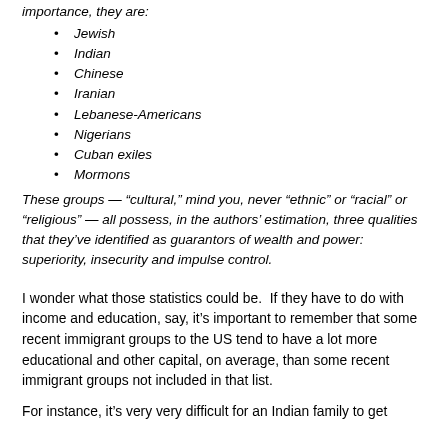importance, they are:
Jewish
Indian
Chinese
Iranian
Lebanese-Americans
Nigerians
Cuban exiles
Mormons
These groups — “cultural,” mind you, never “ethnic” or “racial” or “religious” — all possess, in the authors’ estimation, three qualities that they’ve identified as guarantors of wealth and power: superiority, insecurity and impulse control.
I wonder what those statistics could be.  If they have to do with income and education, say, it’s important to remember that some recent immigrant groups to the US tend to have a lot more educational and other capital, on average, than some recent immigrant groups not included in that list.
For instance, it’s very very difficult for an Indian family to get